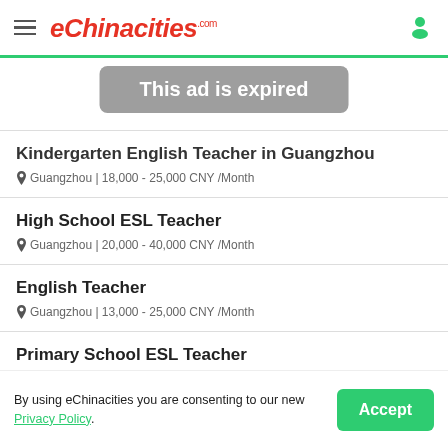eChinacities.com
This ad is expired
Kindergarten English Teacher in Guangzhou — Guangzhou | 18,000 - 25,000 CNY /Month
High School ESL Teacher — Guangzhou | 20,000 - 40,000 CNY /Month
English Teacher — Guangzhou | 13,000 - 25,000 CNY /Month
Primary School ESL Teacher — Guangzhou | 12,000 - 16,000 CNY /Month
By using eChinacities you are consenting to our new Privacy Policy.